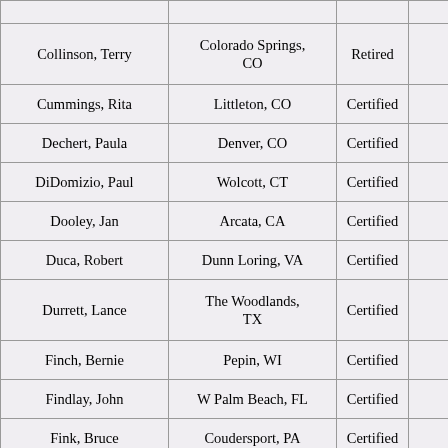| Name | Location | Status |  |
| --- | --- | --- | --- |
| Collinson, Terry | Colorado Springs, CO | Retired |  |
| Cummings, Rita | Littleton, CO | Certified |  |
| Dechert, Paula | Denver, CO | Certified |  |
| DiDomizio, Paul | Wolcott, CT | Certified |  |
| Dooley, Jan | Arcata, CA | Certified |  |
| Duca, Robert | Dunn Loring, VA | Certified |  |
| Durrett, Lance | The Woodlands, TX | Certified |  |
| Finch, Bernie | Pepin, WI | Certified |  |
| Findlay, John | W Palm Beach, FL | Certified |  |
| Fink, Bruce | Coudersport, PA | Certified |  |
| Friedrichs, Robert | Mason City, IH | Certified |  |
| Gauerke, Gwendolyn | Iola, WI | Certified |  |
| Gelhot, John | Albuquerque, NM | Certified |  |
| Gerger, Marguerite | Clearwater, FL | Certified |  |
| Gerhart, Timothy | Glendale, AZ | Certified |  |